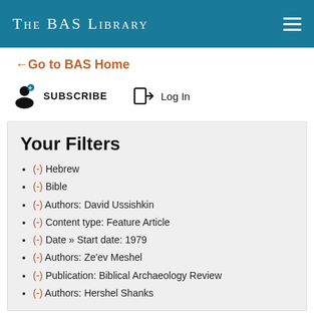The BAS Library
← Go to BAS Home
SUBSCRIBE   Log In
Your Filters
(-) Hebrew
(-) Bible
(-) Authors: David Ussishkin
(-) Content type: Feature Article
(-) Date » Start date: 1979
(-) Authors: Ze'ev Meshel
(-) Publication: Biblical Archaeology Review
(-) Authors: Hershel Shanks